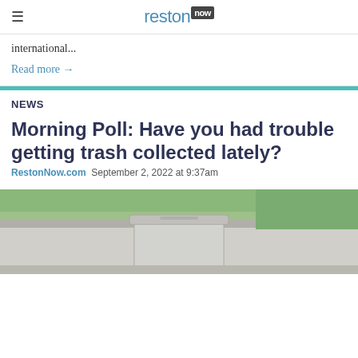reston now
international...
Read more →
NEWS
Morning Poll: Have you had trouble getting trash collected lately?
RestonNow.com  September 2, 2022 at 9:37am
[Figure (photo): Outdoor photo showing trash bins or containers on a road with grass in the background]